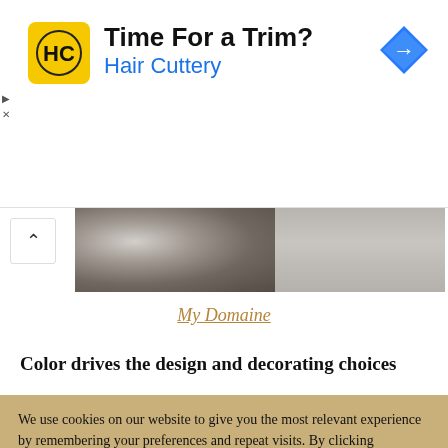[Figure (advertisement): Hair Cuttery ad banner with yellow/black HC logo, text 'Time For a Trim?' and 'Hair Cuttery' in blue, blue diamond navigation icon on the right]
[Figure (photo): Horizontal photo strip showing fluffy grey/brown texture on left half and smooth grey surface on right half]
My Domaine
Color drives the design and decorating choices
We use cookies on our website to give you the most relevant experience by remembering your preferences and repeat visits. By clicking “Accept”, you consent to the use of ALL the cookies.
Do not sell my personal information.